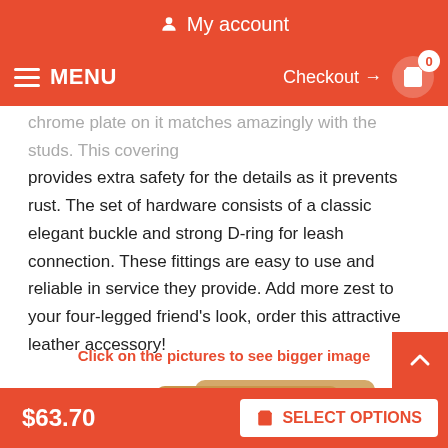My account
MENU  Checkout →  0
chrome plate on it matches amazingly with the studs. This covering provides extra safety for the details as it prevents rust. The set of hardware consists of a classic elegant buckle and strong D-ring for leash connection. These fittings are easy to use and reliable in service they provide. Add more zest to your four-legged friend's look, order this attractive leather accessory!
Click on the pictures to see bigger image
[Figure (photo): Product packaging boxes showing 'TAKE YOUR A...' text on kraft paper bags/boxes]
$63.70
SELECT OPTIONS